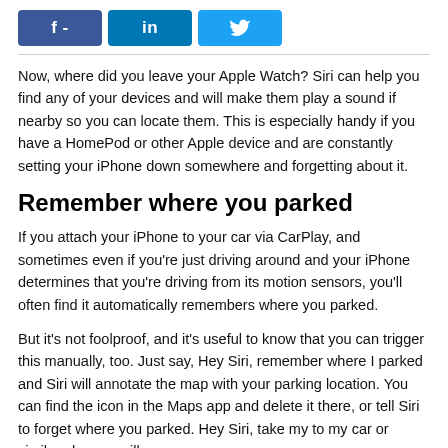[Figure (other): Social sharing buttons: Facebook (f -), LinkedIn (in), Twitter (bird icon)]
Now, where did you leave your Apple Watch? Siri can help you find any of your devices and will make them play a sound if nearby so you can locate them. This is especially handy if you have a HomePod or other Apple device and are constantly setting your iPhone down somewhere and forgetting about it.
Remember where you parked
If you attach your iPhone to your car via CarPlay, and sometimes even if you're just driving around and your iPhone determines that you're driving from its motion sensors, you'll often find it automatically remembers where you parked.
But it's not foolproof, and it's useful to know that you can trigger this manually, too. Just say, Hey Siri, remember where I parked and Siri will annotate the map with your parking location. You can find the icon in the Maps app and delete it there, or tell Siri to forget where you parked. Hey Siri, take my to my car or similar phrases will pop up